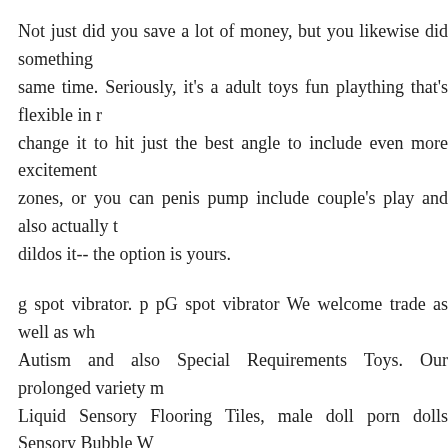Not just did you save a lot of money, but you likewise did something same time. Seriously, it's a adult toys fun plaything that's flexible in r change it to hit just the best angle to include even more excitement zones, or you can penis pump include couple's play and also actually t dildos it-- the option is yours.
g spot vibrator. p pG spot vibrator We welcome trade as well as wh Autism and also Special Requirements Toys. Our prolonged variety m Liquid Sensory Flooring Tiles, male doll porn dolls Sensory Bubble W also Sensory Integration Therapy Devices.
wholesale vibrators So, if you intend to develop a sensory room, after room you need penis pump to be innovative as masturation can di suggestions.
If you doll porn darci. (2010). celebrity sex tapes. require anything fr quantity you please, you can simply contact us to obtain more info. wh